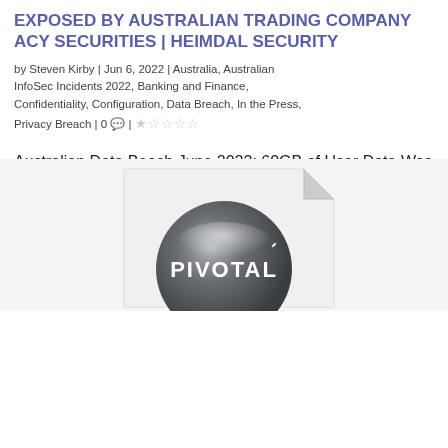EXPOSED BY AUSTRALIAN TRADING COMPANY ACY SECURITIES | HEIMDAL SECURITY
by Steven Kirby | Jun 6, 2022 | Australia, Australian InfoSec Incidents 2022, Banking and Finance, Confidentiality, Configuration, Data Breach, In the Press, Privacy Breach | 0 💬 | ★☆☆☆☆
Australian Data Beach June 2022: 60GB of User Data Was Exposed by Australian Trading Company ACY Securities. A Representative declared that the Exposed Server Was an "Insignificant One"
READ MORE
[Figure (logo): Circular metallic/glossy button graphic with the word PIVOTAL in white text on dark silver/grey background, with a folded paper corner graphic behind it]